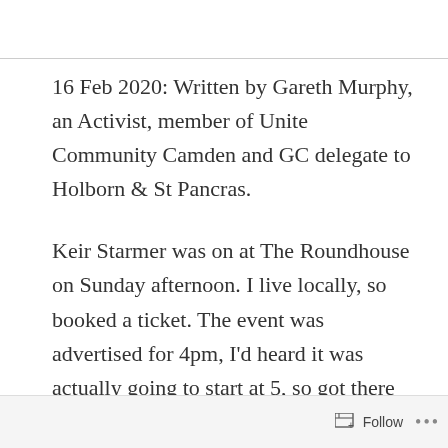16 Feb 2020: Written by Gareth Murphy, an Activist, member of Unite Community Camden and GC delegate to Holborn & St Pancras.
Keir Starmer was on at The Roundhouse on Sunday afternoon. I live locally, so booked a ticket. The event was advertised for 4pm, I'd heard it was actually going to start at 5, so got there just before that.
There was a good size crowd when I arrived,